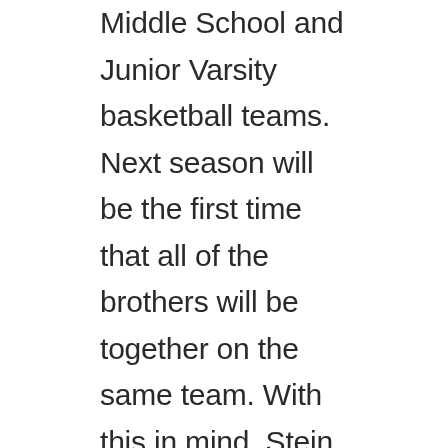Middle School and Junior Varsity basketball teams. Next season will be the first time that all of the brothers will be together on the same team. With this in mind, Stein has goals of becoming a better friend, teammate and student athlete. Stein says, “I want to boost my work performance in every way I can. Which includes increasing my speed, strength, physique and more.” Stein’s goals do not focus only on personal achievements but also on his whole team. Stein say he hopes to “grow a strong chemistry with all off his teammates and be a leader to them.” Coach Mike Howard said, “Isaiah is dependable, focused, highly skilled and relentless in